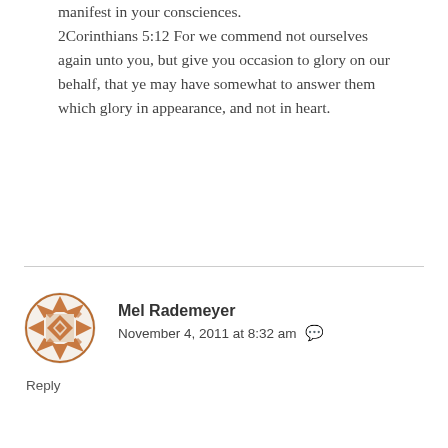manifest in your consciences. 2Corinthians 5:12 For we commend not ourselves again unto you, but give you occasion to glory on our behalf, that ye may have somewhat to answer them which glory in appearance, and not in heart.
[Figure (illustration): Circular avatar icon with an orange/brown geometric star-and-diamond quilt pattern on white background]
Mel Rademeyer
November 4, 2011 at 8:32 am
Reply